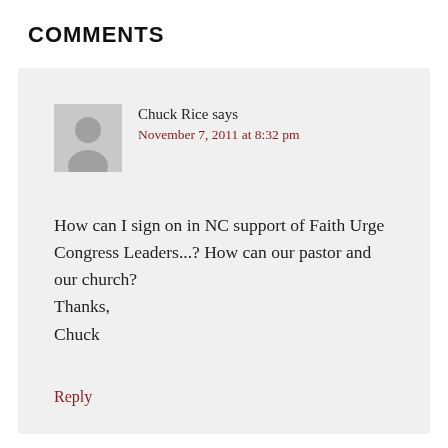COMMENTS
Chuck Rice says
November 7, 2011 at 8:32 pm
How can I sign on in NC support of Faith Urge Congress Leaders...? How can our pastor and our church?
Thanks,
Chuck
Reply